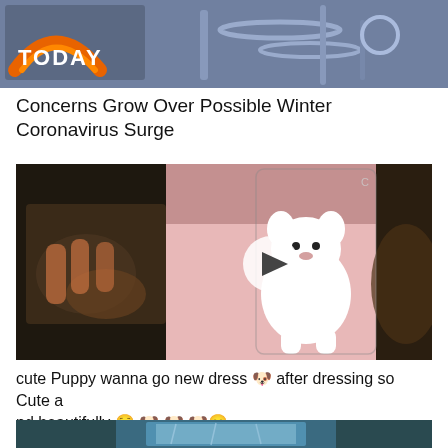[Figure (photo): TODAY show logo with orange sunburst on upper left, medical/industrial equipment visible in background with blue-purple tones]
Concerns Grow Over Possible Winter Coronavirus Surge
[Figure (photo): Video thumbnail of a small white fluffy puppy (Pomeranian) standing on pink bedding, with a play button overlay. Left and right sides show blurred/darkened portions of another dog being dressed.]
cute Puppy wanna go new dress 🐶 after dressing so Cute and beautifully 😊 🐶 🐶 🐶😄
[Figure (photo): Partial image at bottom showing teal/dark background with what appears to be a blue plastic-wrapped item in the center]